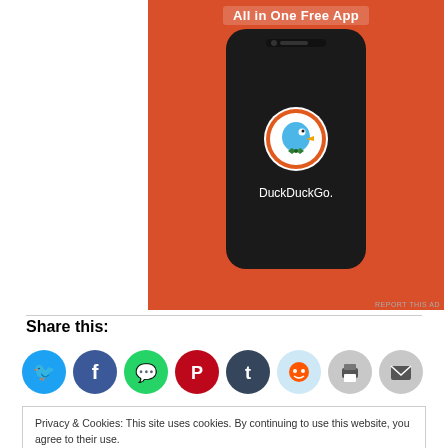[Figure (photo): DuckDuckGo app advertisement on orange background showing smartphone with DuckDuckGo logo and text 'All in One Free App']
REPORT THIS AD
Share this:
[Figure (infographic): Row of social sharing icons: Twitter (blue), Facebook (blue), WhatsApp (green), Pinterest (red), Tumblr (dark blue), Reddit (light blue), Print (gray), Email (gray)]
Privacy & Cookies: This site uses cookies. By continuing to use this website, you agree to their use.
To find out more, including how to control cookies, see here: Cookie Policy
Close and accept